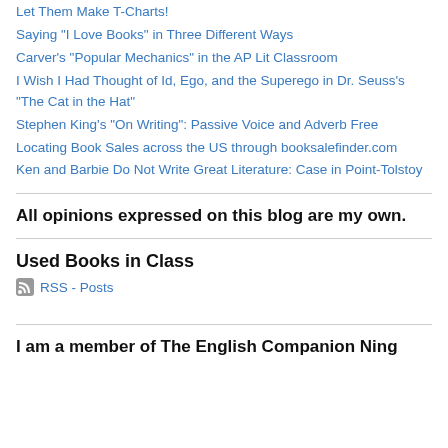Let Them Make T-Charts!
Saying "I Love Books" in Three Different Ways
Carver's "Popular Mechanics" in the AP Lit Classroom
I Wish I Had Thought of Id, Ego, and the Superego in Dr. Seuss's "The Cat in the Hat"
Stephen King's "On Writing": Passive Voice and Adverb Free
Locating Book Sales across the US through booksalefinder.com
Ken and Barbie Do Not Write Great Literature: Case in Point-Tolstoy
All opinions expressed on this blog are my own.
Used Books in Class
RSS - Posts
I am a member of The English Companion Ning